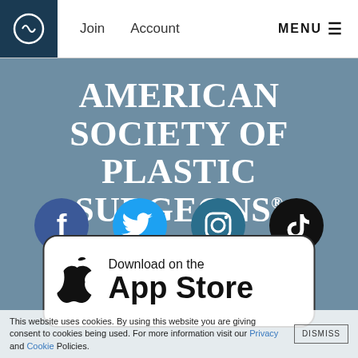[Figure (screenshot): Website header with logo circle, Join and Account navigation links, and MENU hamburger icon]
AMERICAN SOCIETY OF PLASTIC SURGEONS ®
[Figure (illustration): Social media icons: Facebook (blue circle with f), Twitter (blue circle with bird), Instagram (teal circle with camera), TikTok (black circle with note), YouTube (red circle with play button), LinkedIn (teal circle with in)]
[Figure (screenshot): Download on the App Store button with Apple logo]
This website uses cookies. By using this website you are giving consent to cookies being used. For more information visit our Privacy and Cookie Policies.